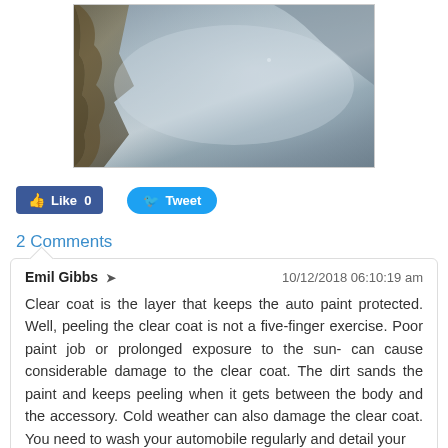[Figure (photo): A blurry photograph showing a misty or foggy surface, possibly a car's clear coat, with some tree foliage visible on the left side.]
Like 0
Tweet
2 Comments
Emil Gibbs → 10/12/2018 06:10:19 am
Clear coat is the layer that keeps the auto paint protected. Well, peeling the clear coat is not a five-finger exercise. Poor paint job or prolonged exposure to the sun- can cause considerable damage to the clear coat. The dirt sands the paint and keeps peeling when it gets between the body and the accessory. Cold weather can also damage the clear coat. You need to wash your automobile regularly and detail your